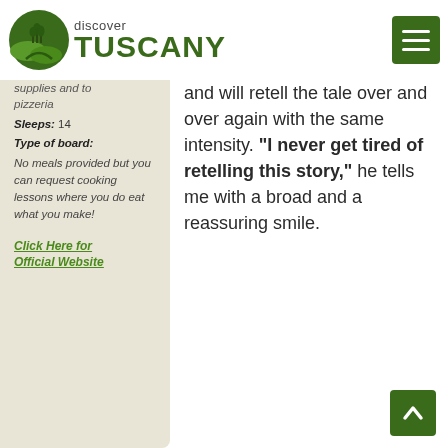discover TUSCANY
supplies and to pizzeria
Sleeps: 14
Type of board: No meals provided but you can request cooking lessons where you do eat what you make!
Click Here for Official Website
and will retell the tale over and over again with the same intensity. "I never get tired of retelling this story," he tells me with a broad and a reassuring smile.